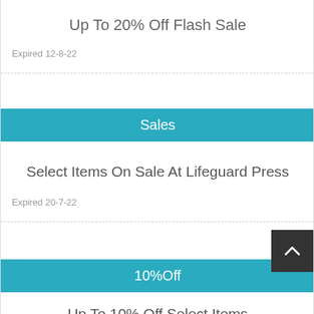Up To 20% Off Flash Sale
Expired 12-8-22
Sales
Select Items On Sale At Lifeguard Press
Expired 20-7-22
10%Off
Up To 10% Off Select Items